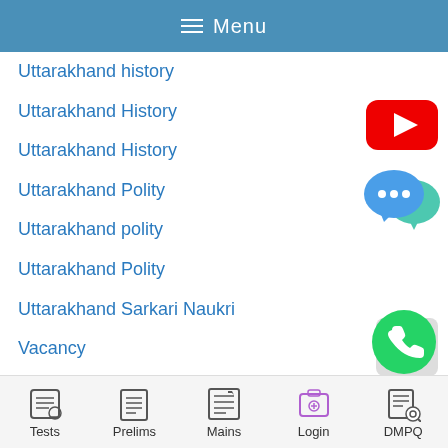Menu
Uttarakhand history
Uttarakhand History
Uttarakhand History
Uttarakhand Polity
Uttarakhand polity
Uttarakhand Polity
Uttarakhand Sarkari Naukri
Vacancy
World Geography
World Geography
World History
[Figure (logo): YouTube play button icon (red rounded rectangle with white triangle)]
[Figure (logo): Chat/messaging bubble icon (blue and teal with ellipsis dots)]
[Figure (logo): WhatsApp icon (green circle with white phone handset)]
Tests | Prelims | Mains | Login | DMPQ